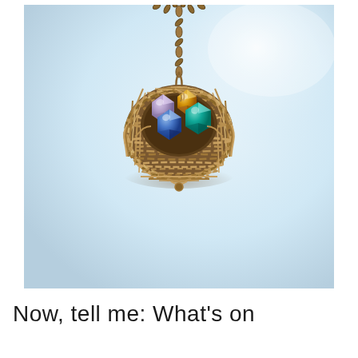[Figure (photo): Close-up photograph of a wire-wrapped bird's nest pendant necklace on a light blue/white background. The pendant features a round nest made of twisted copper/bronze wire with four colorful crystal beads inside: lavender/pink, amber/orange, blue, and teal/green. A chain is visible at the top connecting to the pendant.]
Now, tell me: What's on